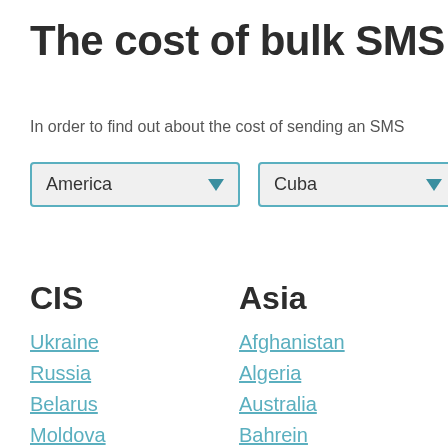The cost of bulk SMS
In order to find out about the cost of sending an SMS
[Figure (screenshot): Two dropdown selectors: 'America' on the left and 'Cuba' on the right, both with teal borders and dropdown arrows]
CIS
Ukraine
Russia
Belarus
Moldova
Georgia
Armenia
Asia
Afghanistan
Algeria
Australia
Bahrein
Bangladesh
Bhutan